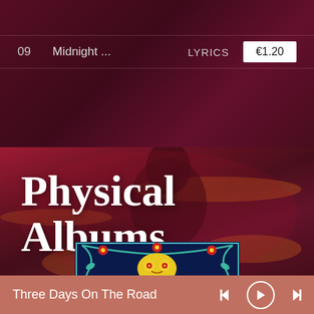| # | Title | Extras | Price |
| --- | --- | --- | --- |
| 09 | Midnight ... | LYRICS | €1.20 |
Physical Albums
[Figure (illustration): Midnight Moonlight album cover with colorful folk-art style design featuring flowers and moon imagery on dark background]
Three Days On The Road